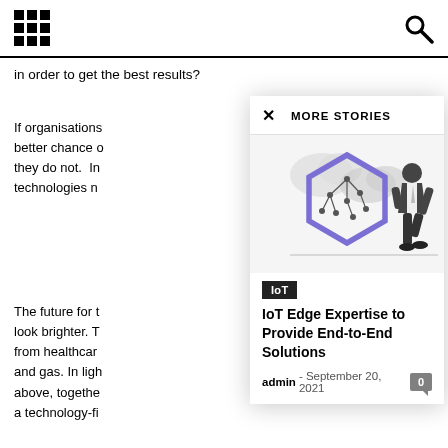[grid menu icon] [search icon]
in order to get the best results?
If organisations... better chance ... they do not.  In... technologies n...
The future for t... look brighter. T... from healthcare... and gas. In lig... above, togethe... a technology-fi...
MORE STORIES
[Figure (illustration): IoT illustration showing a hexagon with network nodes and a man in a suit leaning against it, with cloud shapes in the background.]
IoT
IoT Edge Expertise to Provide End-to-End Solutions
admin  -  September 20, 2021
About the Author
Alex Black is chief technology officer at Enghouse Interactive